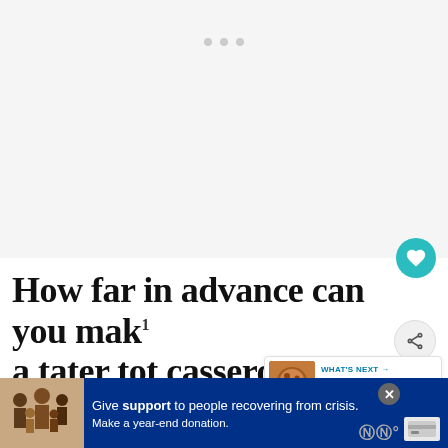[Figure (other): Gray placeholder image area with three small dots indicating a loading carousel or slideshow]
How far in advance can you make a tater tot casserole?
[Figure (other): WHAT'S NEXT panel with a food image thumbnail showing '20 Recipes Using Cann...']
If you're planning to use your tater tot casserole as a freezer meal, you just have to follow the recipe an
[Figure (other): Advertisement banner: 'Give support to people recovering from crisis. Make a year-end donation.' with close button and donate button, on a blue background with a family photo]